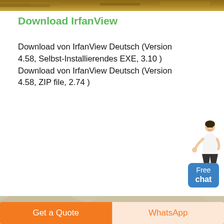[Figure (photo): Top partial image of quarry/rocky terrain, cropped at top]
Download IrfanView
Download von IrfanView Deutsch (Version 4.58, Selbst-Installierendes EXE, 3.10 ) Download von IrfanView Deutsch (Version 4.58, ZIP file, 2.74 )
[Figure (illustration): Chat widget with woman figure pointing left and blue 'Free chat' button]
[Figure (photo): Industrial quarry machinery / conveyor belt equipment in dusty outdoor setting]
[Figure (other): Bottom bar with orange 'Get a Quote' button and light 'WhatsApp' button]